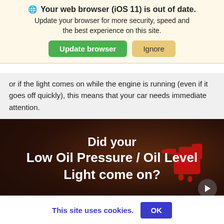[Figure (screenshot): Browser update notification banner with globe icon, bold title 'Your web browser (iOS 11) is out of date.', subtitle text, green 'Update browser' button and tan 'Ignore' button.]
or if the light comes on while the engine is running (even if it goes off quickly), this means that your car needs immediate attention.
[Figure (screenshot): Dark video thumbnail with red oil can warning light icon and white bold text: 'Did your Low Oil Pressure / Oil Level Light come on?']
This site uses cookies.  OK